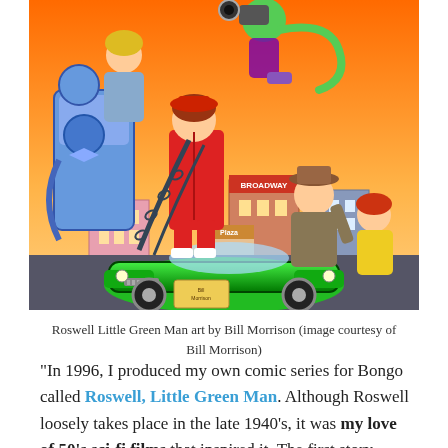[Figure (illustration): Comic book art showing Roswell Little Green Man characters: a green alien, a woman in red, a large robot-like figure, a man in a brown hat, a woman in yellow, and a bright green car in a city setting with orange sky. Art by Bill Morrison.]
Roswell Little Green Man art by Bill Morrison (image courtesy of Bill Morrison)
“In 1996, I produced my own comic series for Bongo called Roswell, Little Green Man. Although Roswell loosely takes place in the late 1940’s, it was my love of 50’s sci-fi films that inspired it. The first story deals